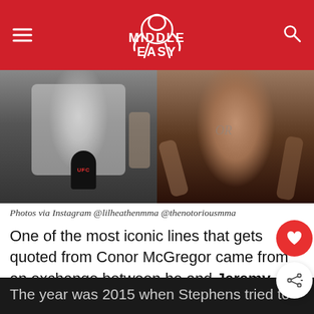Middle Easy
[Figure (photo): Two-panel photo: left shows a fighter (Jeremy Stephens) in a gray tank top holding a UFC microphone; right shows Conor McGregor shirtless with tattoos visible.]
Photos via Instagram @lilheathenmma @thenotoriousmma
One of the most iconic lines that gets quoted from Conor McGregor came from an exchange between he and Jeremy Stephens, where he politely wondered who Jeremy was. Years removed from that, and Jeremy is looking to finally settle the score in the Octagon.
The year was 2015 when Stephens tried to